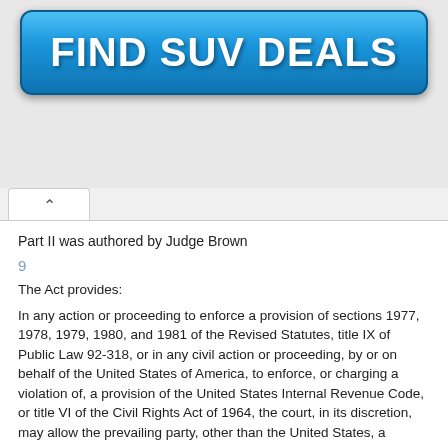[Figure (other): Blue gradient advertisement button reading FIND SUV DEALS in bold white text]
Part II was authored by Judge Brown
9
The Act provides:
In any action or proceeding to enforce a provision of sections 1977, 1978, 1979, 1980, and 1981 of the Revised Statutes, title IX of Public Law 92-318, or in any civil action or proceeding, by or on behalf of the United States of America, to enforce, or charging a violation of, a provision of the United States Internal Revenue Code, or title VI of the Civil Rights Act of 1964, the court, in its discretion, may allow the prevailing party, other than the United States, a reasonable attorney's fee as part of the costs.
10